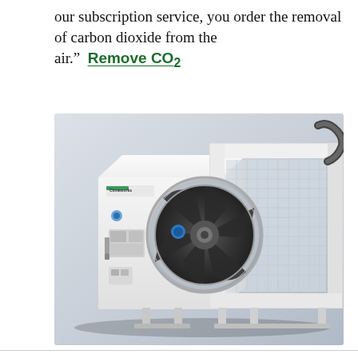our subscription service, you order the removal of carbon dioxide from the air."  Remove CO₂
[Figure (photo): A white industrial direct air capture machine by Climeworks, showing a rectangular cabinet unit on the left and an open module with a large circular fan/filter on the right, photographed against a light grey background.]